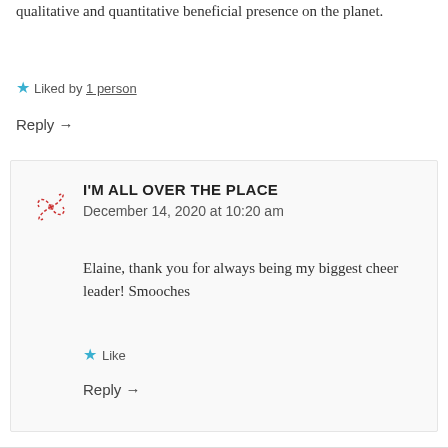qualitative and quantitative beneficial presence on the planet.
★ Liked by 1 person
Reply →
I'M ALL OVER THE PLACE
December 14, 2020 at 10:20 am
Elaine, thank you for always being my biggest cheer leader! Smooches
★ Like
Reply →